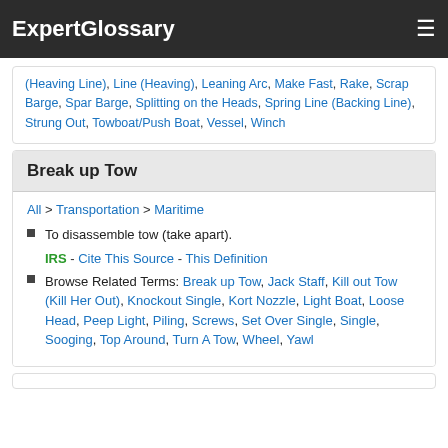ExpertGlossary
(Heaving Line), Line (Heaving), Leaning Arc, Make Fast, Rake, Scrap Barge, Spar Barge, Splitting on the Heads, Spring Line (Backing Line), Strung Out, Towboat/Push Boat, Vessel, Winch
Break up Tow
All > Transportation > Maritime
To disassemble tow (take apart).
IRS - Cite This Source - This Definition
Browse Related Terms: Break up Tow, Jack Staff, Kill out Tow (Kill Her Out), Knockout Single, Kort Nozzle, Light Boat, Loose Head, Peep Light, Piling, Screws, Set Over Single, Single, Sooging, Top Around, Turn A Tow, Wheel, Yawl